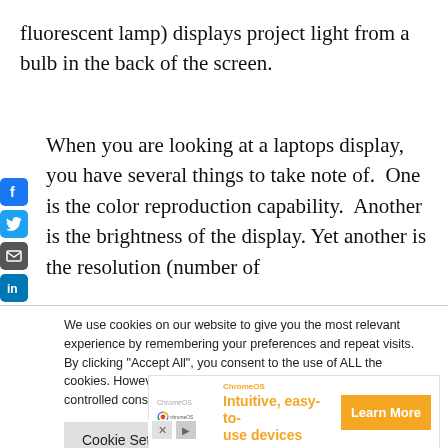fluorescent lamp) displays project light from a bulb in the back of the screen.
When you are looking at a laptops display, you have several things to take note of.  One is the color reproduction capability.  Another is the brightness of the display.  Yet another is the resolution (number of
[Figure (infographic): Social media sharing sidebar with Facebook, Twitter, Email, LinkedIn, and Reddit icons]
We use cookies on our website to give you the most relevant experience by remembering your preferences and repeat visits. By clicking "Accept All", you consent to the use of ALL the cookies. However, you may visit "Cookie Settings" to provide a controlled consent.
Cookie Settings | Accept All
[Figure (infographic): ChromeOS advertisement banner showing 'Intuitive, easy-to-use devices' with Learn More button]